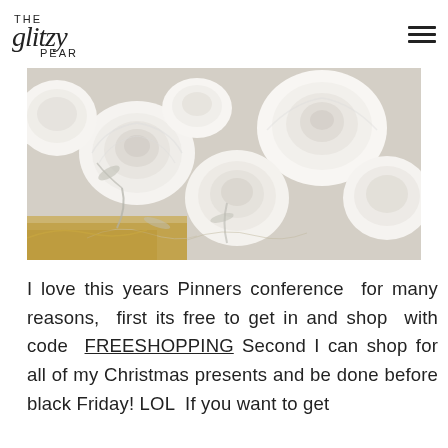THE glitzy PEAR
[Figure (photo): Close-up photo of white paper roses and flowers with silver and gold accents, arranged decoratively.]
I love this years Pinners conference for many reasons, first its free to get in and shop with code FREESHOPPING Second I can shop for all of my Christmas presents and be done before black Friday! LOL If you want to get